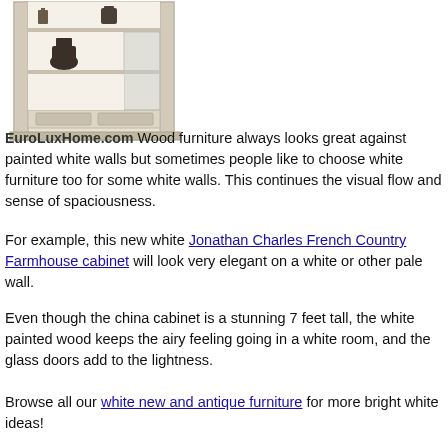[Figure (photo): White painted wood china cabinet with glass doors open, showing decorative objects on shelves. EuroLuxHome.com watermark visible.]
EuroLuxHome.com Wood furniture always looks great against painted white walls but sometimes people like to choose white furniture too for some white walls. This continues the visual flow and sense of spaciousness.
For example, this new white Jonathan Charles French Country Farmhouse cabinet will look very elegant on a white or other pale wall.
Even though the china cabinet is a stunning 7 feet tall, the white painted wood keeps the airy feeling going in a white room, and the glass doors add to the lightness.
Browse all our white new and antique furniture for more bright white ideas!